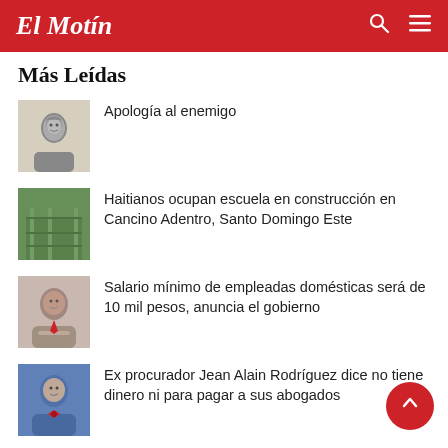El Motín
Más Leídas
Apología al enemigo
Haitianos ocupan escuela en construcción en Cancino Adentro, Santo Domingo Este
Salario mínimo de empleadas domésticas será de 10 mil pesos, anuncia el gobierno
Ex procurador Jean Alain Rodríguez dice no tiene dinero ni para pagar a sus abogados
Caroline Pimentel